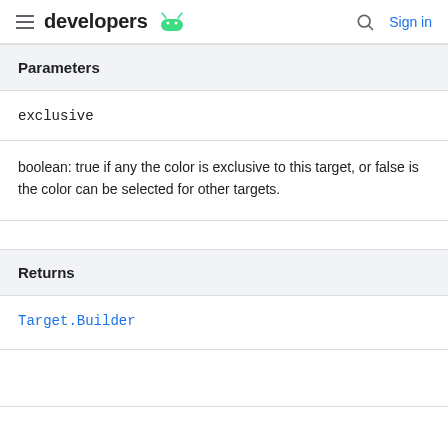developers [android logo] | [search] Sign in
Parameters
exclusive
boolean: true if any the color is exclusive to this target, or false is the color can be selected for other targets.
Returns
Target.Builder